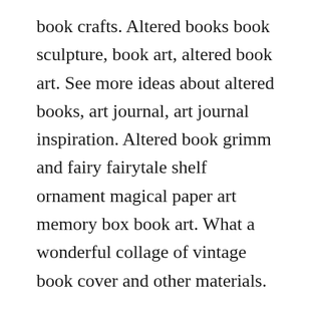book crafts. Altered books book sculpture, book art, altered book art. See more ideas about altered books, art journal, art journal inspiration. Altered book grimm and fairy fairytale shelf ornament magical paper art memory box book art. What a wonderful collage of vintage book cover and other materials.
If youre looking for a free pattern, you can get one here. Its such a fun way of reusing old books and give them another purpose. Gcse art ideas altered books ideas for 2019 deer in